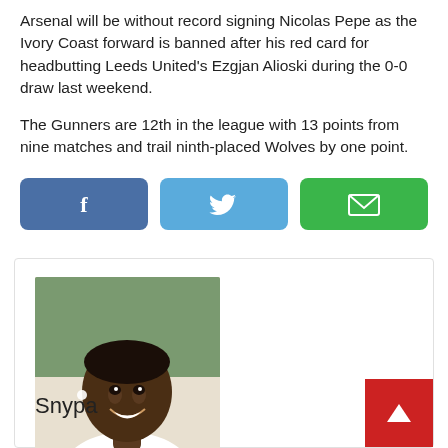Arsenal will be without record signing Nicolas Pepe as the Ivory Coast forward is banned after his red card for headbutting Leeds United's Ezgjan Alioski during the 0-0 draw last weekend.
The Gunners are 12th in the league with 13 points from nine matches and trail ninth-placed Wolves by one point.
[Figure (other): Three social share buttons: Facebook (blue), Twitter (light blue), Email (green)]
[Figure (photo): Profile photo of a young Black man smiling, wearing a white shirt, with a green/cream background]
Snypa